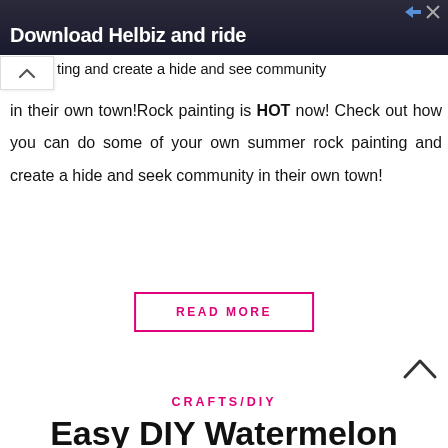[Figure (photo): Advertisement banner for Helbiz with dark background showing a person with camera equipment. Text reads 'Download Helbiz and ride']
ting and create a hide and see community in their own town!Rock painting is HOT now! Check out how you can do some of your own summer rock painting and create a hide and seek community in their own town!
READ MORE
CRAFTS/DIY
Easy DIY Watermelon